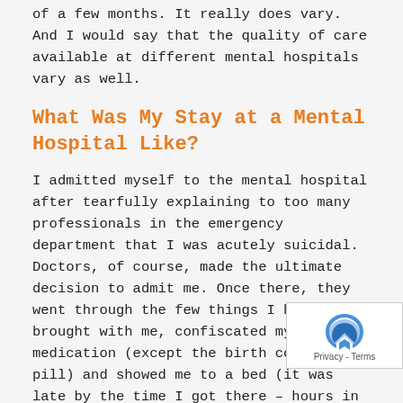of a few months. It really does vary. And I would say that the quality of care available at different mental hospitals vary as well.
What Was My Stay at a Mental Hospital Like?
I admitted myself to the mental hospital after tearfully explaining to too many professionals in the emergency department that I was acutely suicidal. Doctors, of course, made the ultimate decision to admit me. Once there, they went through the few things I had brought with me, confiscated my medication (except the birth control pill) and showed me to a bed (it was late by the time I got there – hours in the emergency room to blame).
Not surprisingly, I was in pretty bad shape so every thing seemed like an ordeal. I brought, quite intellig...